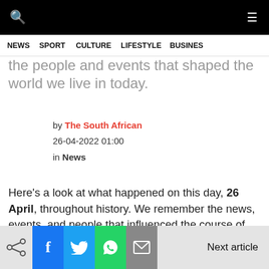NEWS  SPORT  CULTURE  LIFESTYLE  BUSINESS
the people and events that shaped the world we live in today.
by The South African
26-04-2022 01:00
in News
Here's a look at what happened on this day, 26 April, throughout history. We remember the news, events, and people that influenced the course of history forever.
Next article